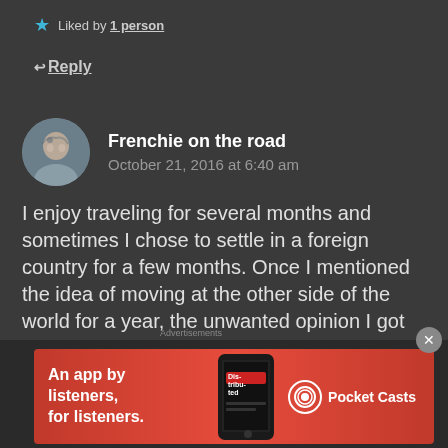★ Liked by 1 person
← Reply
Frenchie on the road
October 21, 2016 at 6:40 am
I enjoy traveling for several months and sometimes I chose to settle in a foreign country for a few months. Once I mentioned the idea of moving at the other side of the world for a year, the unwanted opinion I got was "again? aren't you tired of uprooting yourself?". The truth is traveling makes me happy, I feel
[Figure (screenshot): Advertisement banner for Pocket Casts app: red background with phone image showing 'Distributed' text, ad says 'An app by listeners, for listeners.' with Pocket Casts logo]